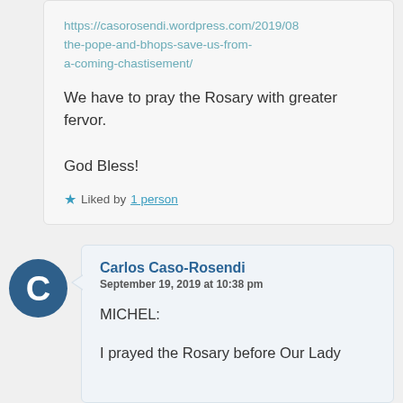https://casorosendi.wordpress.com/2019/08/the-pope-and-bhops-save-us-from-a-coming-chastisement/
We have to pray the Rosary with greater fervor.

God Bless!
★ Liked by 1 person
Carlos Caso-Rosendi
September 19, 2019 at 10:38 pm
MICHEL:

I prayed the Rosary before Our Lady